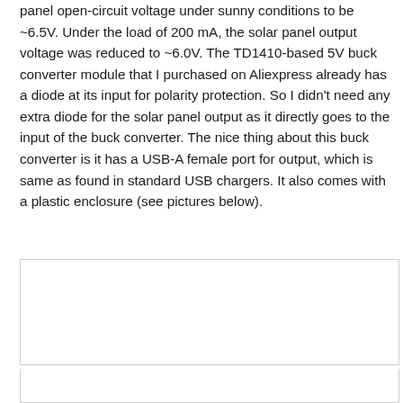panel open-circuit voltage under sunny conditions to be ~6.5V. Under the load of 200 mA, the solar panel output voltage was reduced to ~6.0V. The TD1410-based 5V buck converter module that I purchased on Aliexpress already has a diode at its input for polarity protection. So I didn't need any extra diode for the solar panel output as it directly goes to the input of the buck converter. The nice thing about this buck converter is it has a USB-A female port for output, which is same as found in standard USB chargers. It also comes with a plastic enclosure (see pictures below).
[Figure (photo): Empty white rectangle placeholder for a photo (top image box)]
[Figure (photo): Empty white rectangle placeholder for a photo (bottom image box)]